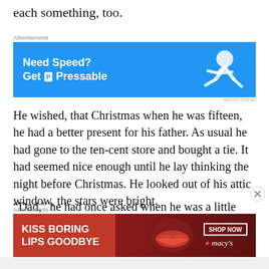each something, too.
[Figure (other): Advertisement banner: Need Speed? Get Pressable - blue background with running figure]
He wished, that Christmas when he was fifteen, he had a better present for his father. As usual he had gone to the ten-cent store and bought a tie. It had seemed nice enough until he lay thinking the night before Christmas. He looked out of his attic window, the stars were bright.
“Dad,” he had once asked when he was a little boy, “What is a stable?”
[Figure (other): Advertisement banner: Kiss Boring Lips Goodbye - red background with lips image and Macy's Shop Now button]